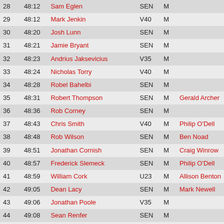| Pos | Time | Name | Cat | Gender | Coach |
| --- | --- | --- | --- | --- | --- |
| 28 | 48:12 | Sam Eglen | SEN | M |  |
| 29 | 48:12 | Mark Jenkin | V40 | M |  |
| 30 | 48:20 | Josh Lunn | SEN | M |  |
| 31 | 48:21 | Jamie Bryant | SEN | M |  |
| 32 | 48:23 | Andrius Jaksevicius | V35 | M |  |
| 33 | 48:24 | Nicholas Torry | V40 | M |  |
| 34 | 48:28 | Robel Bahelbi | SEN | M |  |
| 35 | 48:31 | Robert Thompson | SEN | M | Gerald Archer |
| 36 | 48:36 | Rob Corney | SEN | M |  |
| 37 | 48:43 | Chris Smith | V40 | M | Philip O'Dell |
| 38 | 48:48 | Rob Wilson | SEN | M | Ben Noad |
| 39 | 48:51 | Jonathan Cornish | SEN | M | Craig Winrow |
| 40 | 48:57 | Frederick Slemeck | SEN | M | Philip O'Dell |
| 41 | 48:59 | William Cork | U23 | M | Allison Benton |
| 42 | 49:05 | Dean Lacy | SEN | M | Mark Newell |
| 43 | 49:06 | Jonathan Poole | V35 | M |  |
| 44 | 49:08 | Sean Renfer | SEN | M |  |
| 45 | 49:13 | George King | SEN | M | Tom Craggs |
| 46 | 49:16 | Ewan Cameron | V35 | M | Steve Hobbs |
| 47 | 49:17 | Chris Darling | SEN | M | Mark Vile |
| 48 | 49:18 | Paskar Owor | V35 | M |  |
| 49 | 49:20 | Richard McDowell | V35 | M |  |
| 50 | 49:?? | ... | SEN | M |  |